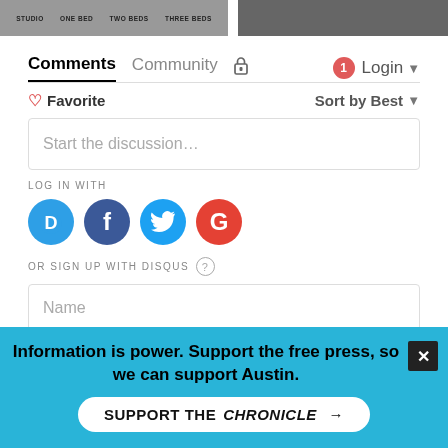[Figure (screenshot): Top portion showing partial screenshot of a rental listing chart with labels STUDIO, ONE BED, TWO BEDS, THREE BEDS and a dark photo thumbnail on the right]
Comments  Community  Login
Favorite  Sort by Best
Start the discussion…
LOG IN WITH
[Figure (infographic): Social login icons: Disqus (blue D), Facebook (dark blue F), Twitter (light blue bird), Google (red G)]
OR SIGN UP WITH DISQUS ?
Name
Information is power. Support the free press, so we can support Austin.
SUPPORT THE CHRONICLE →